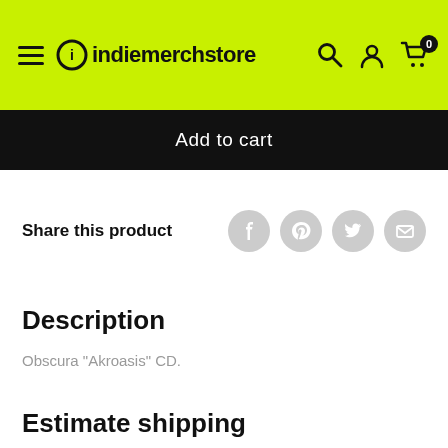indiemerchstore — navigation header with hamburger menu, logo, search, account, and cart icons
Add to cart
Share this product
Description
Obscura "Akroasis" CD.
Estimate shipping